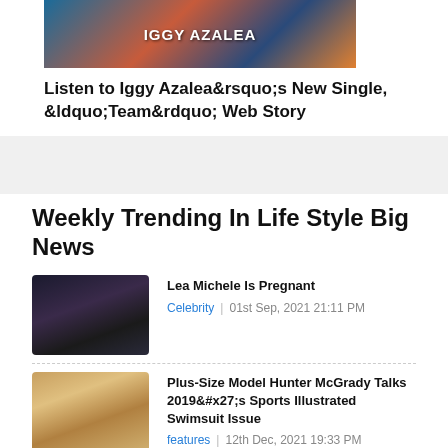[Figure (photo): Iggy Azalea promotional banner image with colorful background and white text 'IGGY AZALEA']
Listen to Iggy Azalea&amp;rsquo;s New Single, &amp;ldquo;Team&amp;rdquo; Web Story
Weekly Trending In Life Style Big News
[Figure (photo): Couple photo - dark background, man in suit and woman]
Lea Michele Is Pregnant
Celebrity | 01st Sep, 2021 21:11 PM
[Figure (photo): Blonde woman portrait photo]
Plus-Size Model Hunter McGrady Talks 2019&#x27;s Sports Illustrated Swimsuit Issue
features | 12th Dec, 2021 19:33 PM